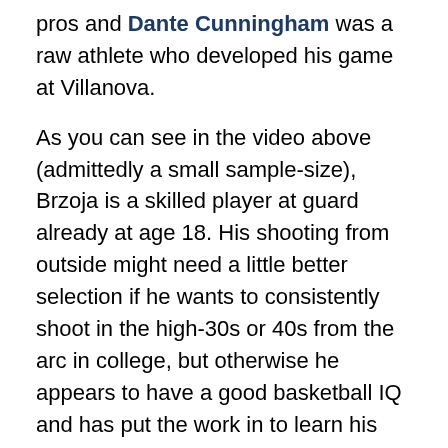pros and Dante Cunningham was a raw athlete who developed his game at Villanova.
As you can see in the video above (admittedly a small sample-size), Brzoja is a skilled player at guard already at age 18. His shooting from outside might need a little better selection if he wants to consistently shoot in the high-30s or 40s from the arc in college, but otherwise he appears to have a good basketball IQ and has put the work in to learn his fundamentals.
He isn't perceived as a terribly athletic player, however, but that isn't a huge issue in Europe.
Then again, Brzoja seemed to be planning on attending an American college when he enrolled at Traders Point Christian in Indiana after his stint with